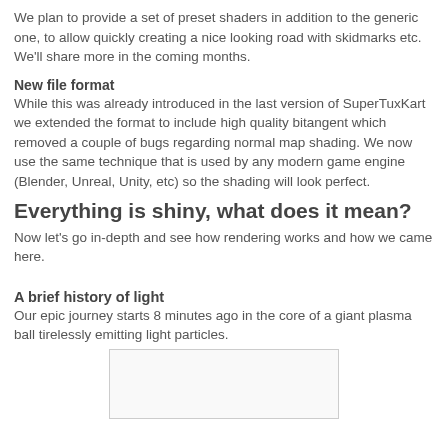We plan to provide a set of preset shaders in addition to the generic one, to allow quickly creating a nice looking road with skidmarks etc. We'll share more in the coming months.
New file format
While this was already introduced in the last version of SuperTuxKart we extended the format to include high quality bitangent which removed a couple of bugs regarding normal map shading. We now use the same technique that is used by any modern game engine (Blender, Unreal, Unity, etc) so the shading will look perfect.
Everything is shiny, what does it mean?
Now let's go in-depth and see how rendering works and how we came here.
A brief history of light
Our epic journey starts 8 minutes ago in the core of a giant plasma ball tirelessly emitting light particles.
[Figure (other): White/light gray rectangular image placeholder box]